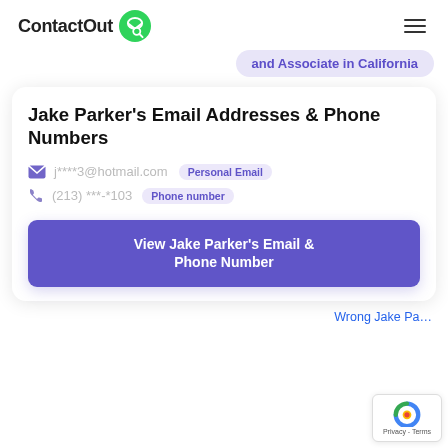ContactOut
and Associate in California
Jake Parker's Email Addresses & Phone Numbers
j****3@hotmail.com  Personal Email
(213) ***-*103  Phone number
View Jake Parker's Email & Phone Number
Wrong Jake Pa...